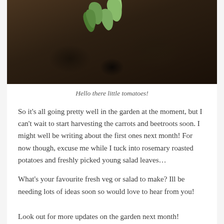[Figure (photo): Close-up photo of dark soil/compost in a tray with small tomato seedlings sprouting, showing two small green seedlings emerging from dark brown soil.]
Hello there little tomatoes!
So it's all going pretty well in the garden at the moment, but I can't wait to start harvesting the carrots and beetroots soon. I might well be writing about the first ones next month! For now though, excuse me while I tuck into rosemary roasted potatoes and freshly picked young salad leaves…
What's your favourite fresh veg or salad to make? Ill be needing lots of ideas soon so would love to hear from you!
Look out for more updates on the garden next month!